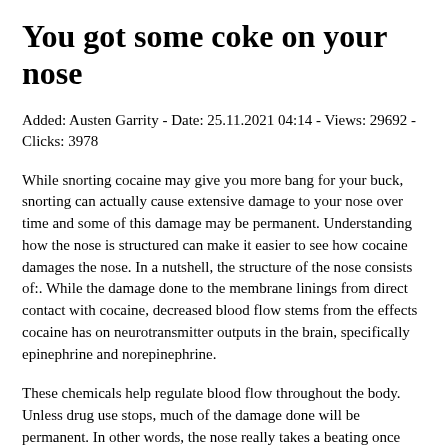You got some coke on your nose
Added: Austen Garrity - Date: 25.11.2021 04:14 - Views: 29692 - Clicks: 3978
While snorting cocaine may give you more bang for your buck, snorting can actually cause extensive damage to your nose over time and some of this damage may be permanent. Understanding how the nose is structured can make it easier to see how cocaine damages the nose. In a nutshell, the structure of the nose consists of:. While the damage done to the membrane linings from direct contact with cocaine, decreased blood flow stems from the effects cocaine has on neurotransmitter outputs in the brain, specifically epinephrine and norepinephrine.
These chemicals help regulate blood flow throughout the body. Unless drug use stops, much of the damage done will be permanent. In other words, the nose really takes a beating once addiction takes hold. Short-term cocaine effects on the nose pave